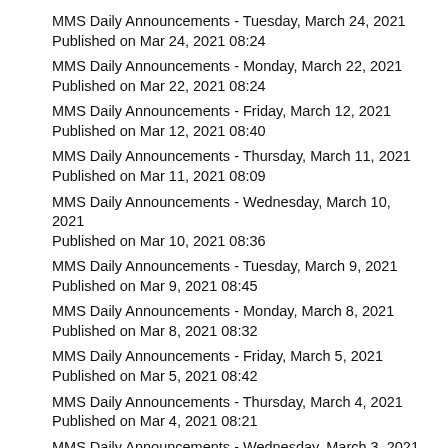MMS Daily Announcements - Tuesday, March 24, 2021
Published on Mar 24, 2021 08:24
MMS Daily Announcements - Monday, March 22, 2021
Published on Mar 22, 2021 08:24
MMS Daily Announcements - Friday, March 12, 2021
Published on Mar 12, 2021 08:40
MMS Daily Announcements - Thursday, March 11, 2021
Published on Mar 11, 2021 08:09
MMS Daily Announcements - Wednesday, March 10, 2021
Published on Mar 10, 2021 08:36
MMS Daily Announcements - Tuesday, March 9, 2021
Published on Mar 9, 2021 08:45
MMS Daily Announcements - Monday, March 8, 2021
Published on Mar 8, 2021 08:32
MMS Daily Announcements - Friday, March 5, 2021
Published on Mar 5, 2021 08:42
MMS Daily Announcements - Thursday, March 4, 2021
Published on Mar 4, 2021 08:21
MMS Daily Announcements - Wednesday, March 3, 2021
Published on Mar 3, 2021 09:01
MMS Daily Announcements - Tuesday, March 2, 2021
Published on Mar 2, 2021 08:20
MMS Daily Announcements - Monday, March 1, 2021